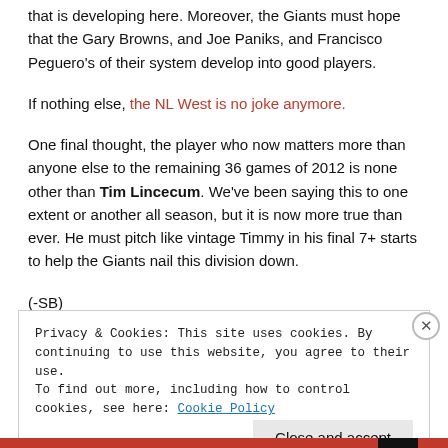that is developing here. Moreover, the Giants must hope that the Gary Browns, and Joe Paniks, and Francisco Peguero's of their system develop into good players.
If nothing else, the NL West is no joke anymore.
One final thought, the player who now matters more than anyone else to the remaining 36 games of 2012 is none other than Tim Lincecum. We've been saying this to one extent or another all season, but it is now more true than ever. He must pitch like vintage Timmy in his final 7+ starts to help the Giants nail this division down.
(-SB)
Privacy & Cookies: This site uses cookies. By continuing to use this website, you agree to their use.
To find out more, including how to control cookies, see here: Cookie Policy